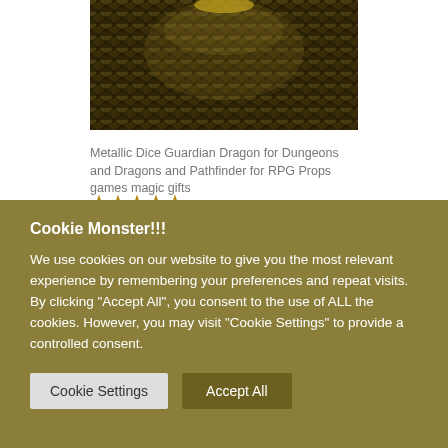[Figure (photo): Close-up photo of a metallic dragon dice guardian ball with dark scaly texture, gold and black tones, partially cropped at top]
Metallic Dice Guardian Dragon for Dungeons and Dragons and Pathfinder for RPG Props games magic gifts
★★★★★
£48.00
[Figure (photo): Partially visible second product photo with light stone/marble texture at the bottom of the visible page area]
Cookie Monster!!!
We use cookies on our website to give you the most relevant experience by remembering your preferences and repeat visits. By clicking "Accept All", you consent to the use of ALL the cookies. However, you may visit "Cookie Settings" to provide a controlled consent.
Cookie Settings | Accept All